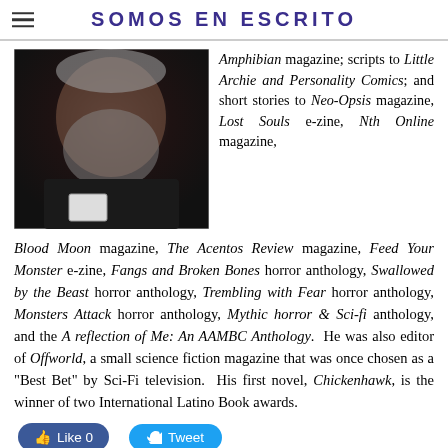SOMOS EN ESCRITO
[Figure (photo): Close-up photo of an older man with gray beard, wearing a dark shirt, holding what appears to be an ID card]
Amphibian magazine; scripts to Little Archie and Personality Comics; and short stories to Neo-Opsis magazine, Lost Souls e-zine, Nth Online magazine, Blood Moon magazine, The Acentos Review magazine, Feed Your Monster e-zine, Fangs and Broken Bones horror anthology, Swallowed by the Beast horror anthology, Trembling with Fear horror anthology, Monsters Attack horror anthology, Mythic horror & Sci-fi anthology, and the A reflection of Me: An AAMBC Anthology.  He was also editor of Offworld, a small science fiction magazine that was once chosen as a "Best Bet" by Sci-Fi television.  His first novel, Chickenhawk, is the winner of two International Latino Book awards.
[Figure (screenshot): Social media buttons: Facebook Like (0) and Twitter Tweet buttons]
0 Comments